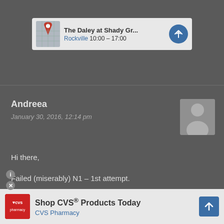[Figure (screenshot): Google Maps ad banner showing 'The Daley at Shady Gr...' location in Rockville, hours 10:00-17:00, with map thumbnail and navigation button]
Andreea
January 30, 2016, 12:14 pm
[Figure (photo): Default user avatar silhouette on grey background]
Hi there,
Failed (miserably) N1 – 1st attempt.
Kanji/Vocabulary – 18/60
Reading – 45/60 (partially visible)
[Figure (screenshot): CVS Pharmacy advertisement banner: 'Shop CVS® Products Today' with CVS logo and navigation button]